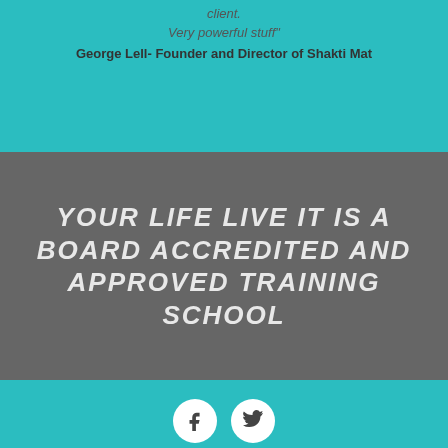client.
Very powerful stuff"
George Lell- Founder and Director of Shakti Mat
YOUR LIFE LIVE IT IS A BOARD ACCREDITED AND APPROVED TRAINING SCHOOL
[Figure (illustration): Two white circular social media icon buttons — Facebook (f) and Twitter (bird icon) on a teal background]
FAQ   Terms & Conditions   Privacy Policy   Corporate Coaching   Coaching Login
Your Life Live It © 2022 All rights reserved
web design by { brownpaperbag }